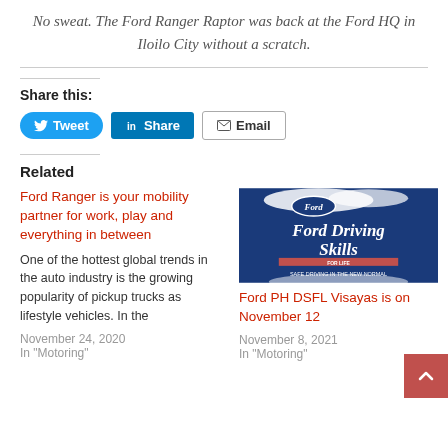No sweat. The Ford Ranger Raptor was back at the Ford HQ in Iloilo City without a scratch.
Share this:
Tweet | Share | Email
Related
Ford Ranger is your mobility partner for work, play and everything in between
One of the hottest global trends in the auto industry is the growing popularity of pickup trucks as lifestyle vehicles. In the
November 24, 2020
In "Motoring"
[Figure (photo): Ford Driving Skills for Life - Safe Driving in the New Normal promotional banner]
Ford PH DSFL Visayas is on November 12
November 8, 2021
In "Motoring"